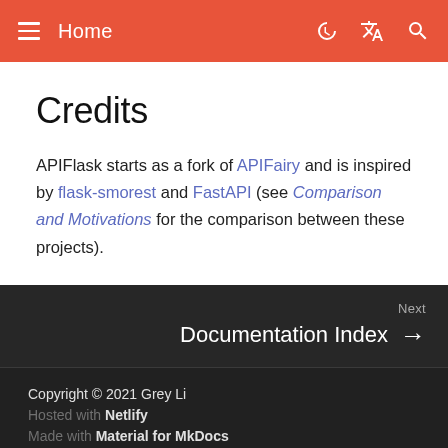Home
Credits
APIFlask starts as a fork of APIFairy and is inspired by flask-smorest and FastAPI (see Comparison and Motivations for the comparison between these projects).
Next
Documentation Index →
Copyright © 2021 Grey Li
Hosted with Netlify
Made with Material for MkDocs